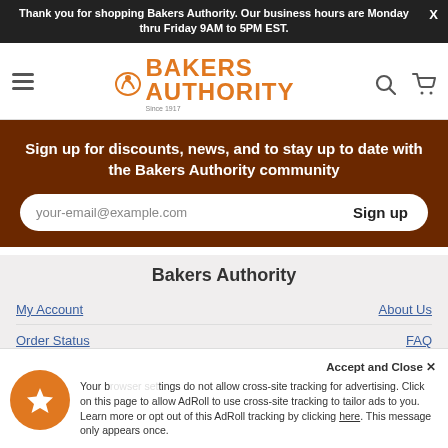Thank you for shopping Bakers Authority. Our business hours are Monday thru Friday 9AM to 5PM EST.
[Figure (logo): Bakers Authority logo with chef hat icon in orange, text BAKERS AUTHORITY, Since 1917]
Sign up for discounts, news, and to stay up to date with the Bakers Authority community
your-email@example.com  Sign up
Bakers Authority
My Account
About Us
Order Status
FAQ
Shipping
Financing
Accept and Close ✕ Your browser settings do not allow cross-site tracking for advertising. Click on this page to allow AdRoll to use cross-site tracking to tailor ads to you. Learn more or opt out of this AdRoll tracking by clicking here. This message only appears once.